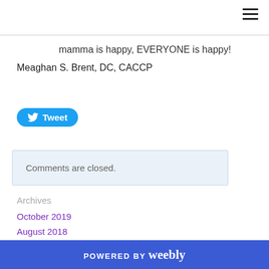mamma is happy, EVERYONE is happy!
Meaghan S. Brent, DC, CACCP
[Figure (other): Twitter Tweet button with bird icon]
Comments are closed.
Archives
October 2019
August 2018
Categories
POWERED BY weebly